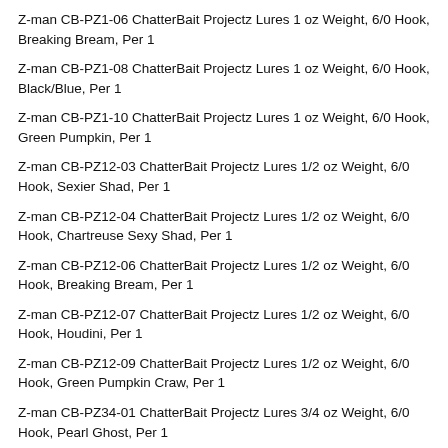Z-man CB-PZ1-06 ChatterBait Projectz Lures 1 oz Weight, 6/0 Hook, Breaking Bream, Per 1
Z-man CB-PZ1-08 ChatterBait Projectz Lures 1 oz Weight, 6/0 Hook, Black/Blue, Per 1
Z-man CB-PZ1-10 ChatterBait Projectz Lures 1 oz Weight, 6/0 Hook, Green Pumpkin, Per 1
Z-man CB-PZ12-03 ChatterBait Projectz Lures 1/2 oz Weight, 6/0 Hook, Sexier Shad, Per 1
Z-man CB-PZ12-04 ChatterBait Projectz Lures 1/2 oz Weight, 6/0 Hook, Chartreuse Sexy Shad, Per 1
Z-man CB-PZ12-06 ChatterBait Projectz Lures 1/2 oz Weight, 6/0 Hook, Breaking Bream, Per 1
Z-man CB-PZ12-07 ChatterBait Projectz Lures 1/2 oz Weight, 6/0 Hook, Houdini, Per 1
Z-man CB-PZ12-09 ChatterBait Projectz Lures 1/2 oz Weight, 6/0 Hook, Green Pumpkin Craw, Per 1
Z-man CB-PZ34-01 ChatterBait Projectz Lures 3/4 oz Weight, 6/0 Hook, Pearl Ghost, Per 1
Z-man CB-PZ34-04 ChatterBait Projectz Lures 3/4 oz Weight, 6/0 Hook,